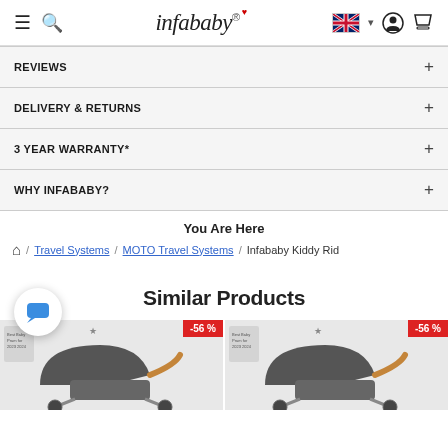infababy header with navigation icons, logo, flag, account, and cart
REVIEWS +
DELIVERY & RETURNS +
3 YEAR WARRANTY* +
WHY INFABABY? +
You Are Here
Home / Travel Systems / MOTO Travel Systems / Infababy Kiddy Rid
Similar Products
[Figure (photo): Product card with -56% discount badge and stroller image]
[Figure (photo): Product card with -56% discount badge and stroller image]